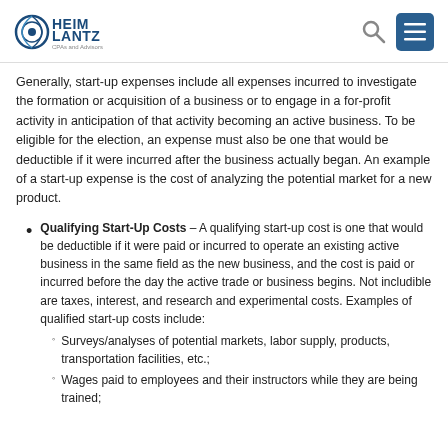HeimLantz CPAs and Advisors
Generally, start-up expenses include all expenses incurred to investigate the formation or acquisition of a business or to engage in a for-profit activity in anticipation of that activity becoming an active business. To be eligible for the election, an expense must also be one that would be deductible if it were incurred after the business actually began. An example of a start-up expense is the cost of analyzing the potential market for a new product.
Qualifying Start-Up Costs – A qualifying start-up cost is one that would be deductible if it were paid or incurred to operate an existing active business in the same field as the new business, and the cost is paid or incurred before the day the active trade or business begins. Not includible are taxes, interest, and research and experimental costs. Examples of qualified start-up costs include:
Surveys/analyses of potential markets, labor supply, products, transportation facilities, etc.;
Wages paid to employees and their instructors while they are being trained;